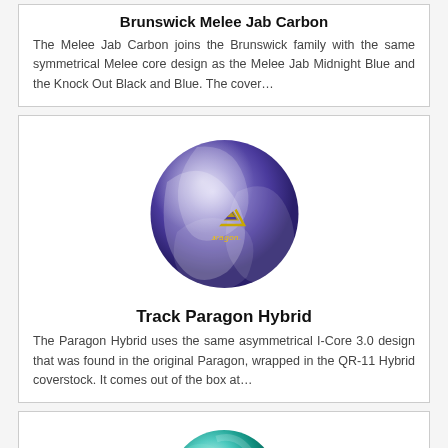Brunswick Melee Jab Carbon
The Melee Jab Carbon joins the Brunswick family with the same symmetrical Melee core design as the Melee Jab Midnight Blue and the Knock Out Black and Blue. The cover…
[Figure (photo): Purple and white swirled bowling ball with Track Paragon logo]
Track Paragon Hybrid
The Paragon Hybrid uses the same asymmetrical I-Core 3.0 design that was found in the original Paragon, wrapped in the QR-11 Hybrid coverstock. It comes out of the box at…
[Figure (photo): Teal and blue swirled bowling ball, partially visible at bottom]